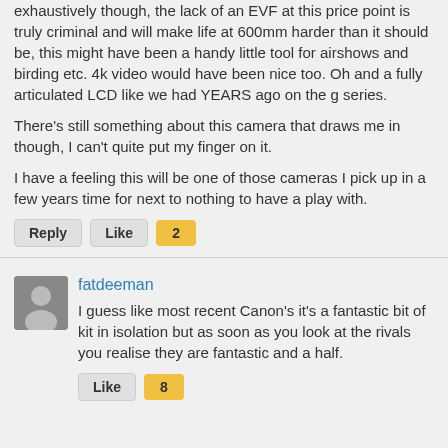exhaustively though, the lack of an EVF at this price point is truly criminal and will make life at 600mm harder than it should be, this might have been a handy little tool for airshows and birding etc. 4k video would have been nice too. Oh and a fully articulated LCD like we had YEARS ago on the g series.
There's still something about this camera that draws me in though, I can't quite put my finger on it.
I have a feeling this will be one of those cameras I pick up in a few years time for next to nothing to have a play with.
fatdeeman
I guess like most recent Canon's it's a fantastic bit of kit in isolation but as soon as you look at the rivals you realise they are fantastic and a half.